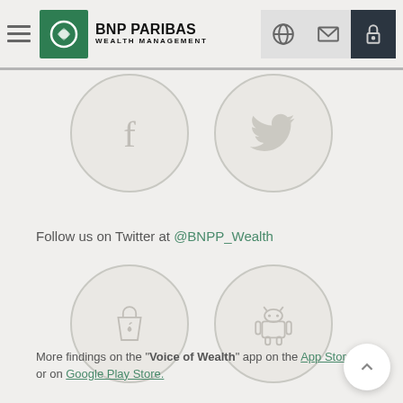BNP PARIBAS WEALTH MANAGEMENT
[Figure (illustration): Social media icons: Facebook (f) and Twitter (bird) inside circular bordered buttons on light grey background]
Follow us on Twitter at @BNPP_Wealth
[Figure (illustration): App store icons: Apple App Store (bag with apple) and Android/Google Play (android robot) inside circular bordered buttons]
More findings on the "Voice of Wealth" app on the App Store or on Google Play Store.